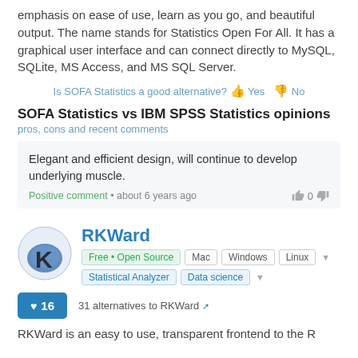emphasis on ease of use, learn as you go, and beautiful output. The name stands for Statistics Open For All. It has a graphical user interface and can connect directly to MySQL, SQLite, MS Access, and MS SQL Server.
Is SOFA Statistics a good alternative? Yes No
SOFA Statistics vs IBM SPSS Statistics opinions
pros, cons and recent comments
Elegant and efficient design, will continue to develop underlying muscle. Positive comment • about 6 years ago 0
RKWard
Free • Open Source Mac Windows Linux Statistical Analyzer Data science
31 alternatives to RKWard
RKWard is an easy to use, transparent frontend to the R